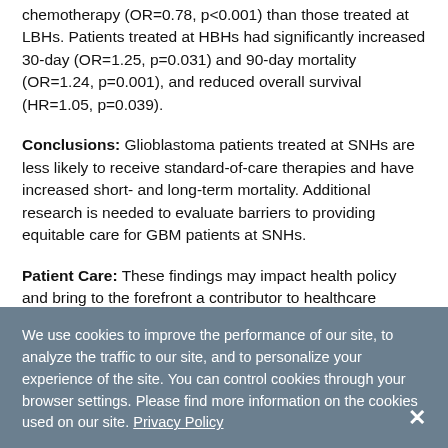chemotherapy (OR=0.78, p<0.001) than those treated at LBHs. Patients treated at HBHs had significantly increased 30-day (OR=1.25, p=0.031) and 90-day mortality (OR=1.24, p=0.001), and reduced overall survival (HR=1.05, p=0.039).
Conclusions: Glioblastoma patients treated at SNHs are less likely to receive standard-of-care therapies and have increased short- and long-term mortality. Additional research is needed to evaluate barriers to providing equitable care for GBM patients at SNHs.
Patient Care: These findings may impact health policy and bring to the forefront a contributor to healthcare disparities in the field of neuro-oncology.
We use cookies to improve the performance of our site, to analyze the traffic to our site, and to personalize your experience of the site. You can control cookies through your browser settings. Please find more information on the cookies used on our site. Privacy Policy